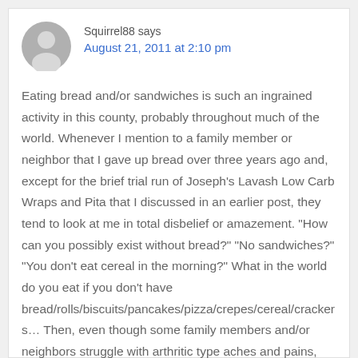[Figure (illustration): Circular grey avatar/profile picture placeholder with a silhouette of a person]
Squirrel88 says
August 21, 2011 at 2:10 pm
Eating bread and/or sandwiches is such an ingrained activity in this county, probably throughout much of the world. Whenever I mention to a family member or neighbor that I gave up bread over three years ago and, except for the brief trial run of Joseph’s Lavash Low Carb Wraps and Pita that I discussed in an earlier post, they tend to look at me in total disbelief or amazement. “How can you possibly exist without bread?” “No sandwiches?” “You don’t eat cereal in the morning?” What in the world do you eat if you don’t have bread/rolls/biscuits/pancakes/pizza/crepes/cereal/crackers… Then, even though some family members and/or neighbors struggle with arthritic type aches and pains, digestive disorders, diabetic